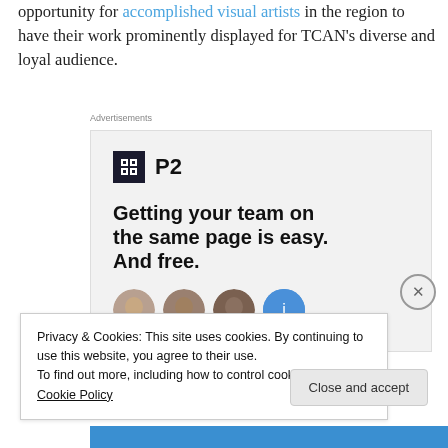opportunity for accomplished visual artists in the region to have their work prominently displayed for TCAN's diverse and loyal audience.
[Figure (screenshot): Advertisement for P2 product with logo, tagline 'Getting your team on the same page is easy. And free.' and user avatar photos]
Privacy & Cookies: This site uses cookies. By continuing to use this website, you agree to their use.
To find out more, including how to control cookies, see here: Cookie Policy
Close and accept